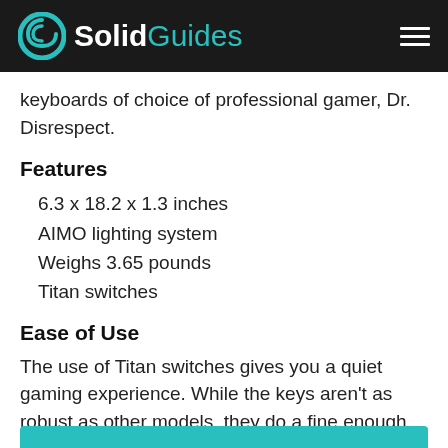SolidGuides
keyboards of choice of professional gamer, Dr. Disrespect.
Features
6.3 x 18.2 x 1.3 inches
AIMO lighting system
Weighs 3.65 pounds
Titan switches
Ease of Use
The use of Titan switches gives you a quiet gaming experience. While the keys aren't as robust as other models, they do a fine enough job of delivering quality gameplay.